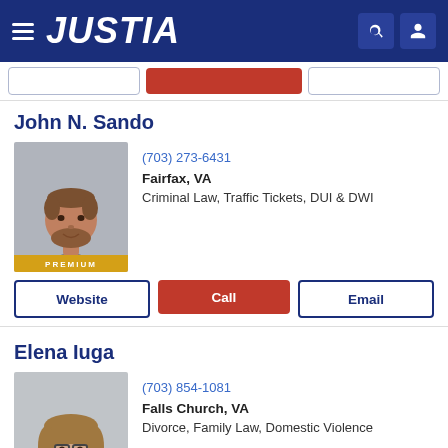JUSTIA
John N. Sando
(703) 273-6431
Fairfax, VA
Criminal Law, Traffic Tickets, DUI & DWI
[Figure (photo): Professional headshot of John N. Sando, male attorney with short hair and beard, wearing a dark suit and blue tie. PREMIUM badge at bottom.]
Elena Iuga
(703) 854-1081
Falls Church, VA
Divorce, Family Law, Domestic Violence
[Figure (photo): Professional headshot of Elena Iuga, female attorney with glasses and light brown hair, wearing a dark dotted blouse. PREMIUM badge at bottom.]